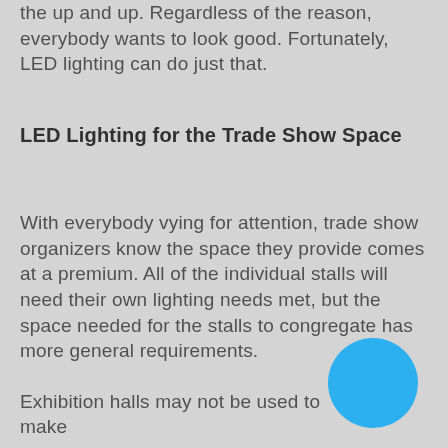the up and up. Regardless of the reason, everybody wants to look good. Fortunately, LED lighting can do just that.
LED Lighting for the Trade Show Space
With everybody vying for attention, trade show organizers know the space they provide comes at a premium. All of the individual stalls will need their own lighting needs met, but the space needed for the stalls to congregate has more general requirements.
Exhibition halls may not be used to make